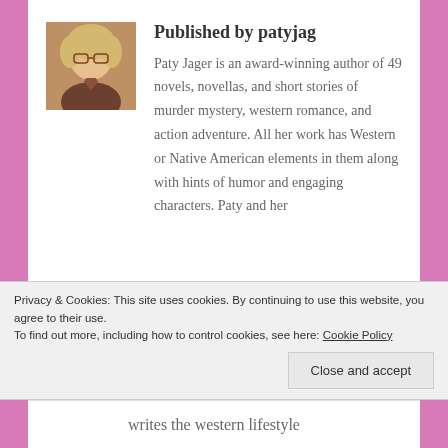[Figure (photo): Portrait photo of Paty Jager, a woman with short blonde hair and glasses]
Published by patyjag
Paty Jager is an award-winning author of 49 novels, novellas, and short stories of murder mystery, western romance, and action adventure. All her work has Western or Native American elements in them along with hints of humor and engaging characters. Paty and her
Privacy & Cookies: This site uses cookies. By continuing to use this website, you agree to their use.
To find out more, including how to control cookies, see here: Cookie Policy
Close and accept
writes the western lifestyle